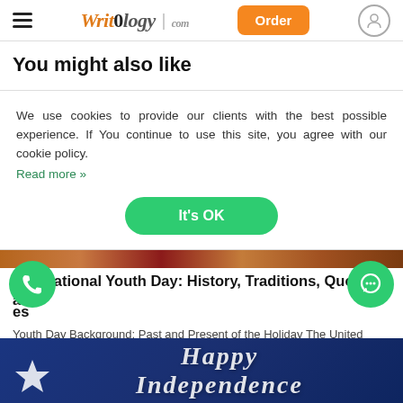WritOlogy.com — Order — [user icon]
You might also like
We use cookies to provide our clients with the best possible experience. If You continue to use this site, you agree with our cookie policy. Read more »
It's OK
International Youth Day: History, Traditions, Quotes and More
Youth Day Background: Past and Present of the Holiday The United Nations Organization has established…
[Figure (photo): Partially visible food/festive image behind cookie overlay]
[Figure (photo): Happy Independence Day banner with blue background, white star, cursive text]